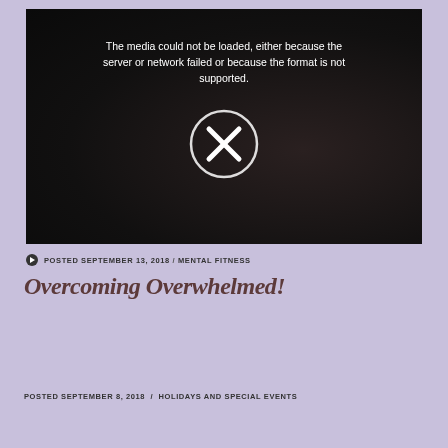[Figure (screenshot): Video player showing error message: 'The media could not be loaded, either because the server or network failed or because the format is not supported.' with an X button in a circle on a dark background showing a blurry image of a person.]
POSTED SEPTEMBER 13, 2018 / MENTAL FITNESS
Overcoming Overwhelmed!
POSTED SEPTEMBER 8, 2018 / HOLIDAYS AND SPECIAL EVENTS